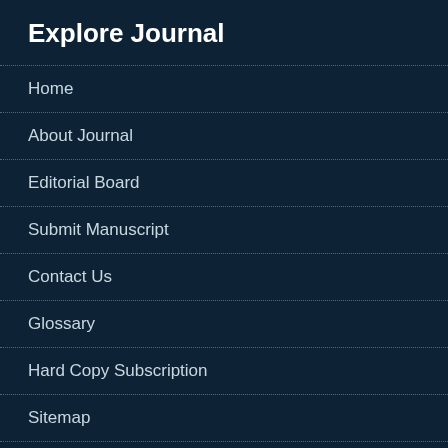Explore Journal
Home
About Journal
Editorial Board
Submit Manuscript
Contact Us
Glossary
Hard Copy Subscription
Sitemap
Latest News
This website uses cookies to ensure you get the best experience on our website.
Got it!
Share your comments and voices on international criminal law issues at: https://jiclchat.org/en/ 2020-04-22
the new issue of Criminal Law Doctrines 2020-03-29
Guterres's message for 2020: In world of turmoil, youth are its greatest source of hope 2018-12-28